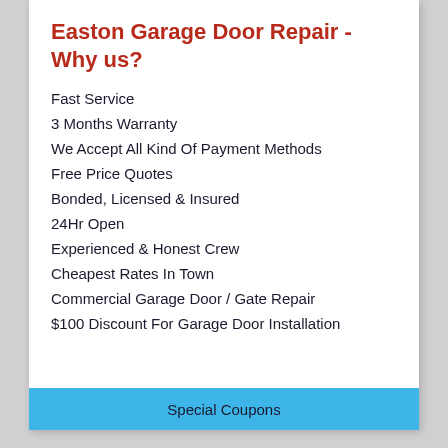Easton Garage Door Repair - Why us?
Fast Service
3 Months Warranty
We Accept All Kind Of Payment Methods
Free Price Quotes
Bonded, Licensed & Insured
24Hr Open
Experienced & Honest Crew
Cheapest Rates In Town
Commercial Garage Door / Gate Repair
$100 Discount For Garage Door Installation
Special Coupons